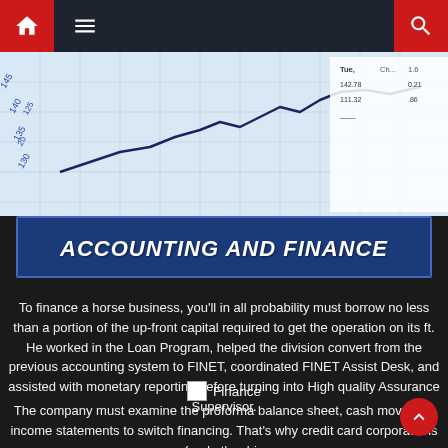Navigation bar with home, menu, and search icons
[Figure (photo): Stock market chart photo showing financial data with numbers and a line graph on graph paper, blue-toned]
ACCOUNTING AND FINANCE
To finance a horse business, you'll in all probability must borrow no less than a portion of the up-front capital required to get the operation on its ft. He worked in the Loan Program, helped the division convert from the previous accounting system to FINET, coordinated FINET Assist Desk, and assisted with monetary reporting before turning into High quality Assurance Supervisor.
Finance
The company must examine the proforma balance sheet, cash move and income statements to switch financing. That's why credit card corporations (and other big